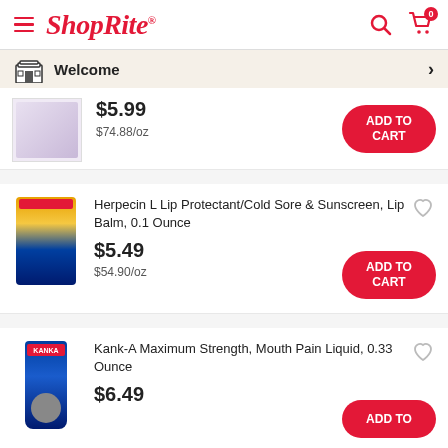ShopRite
Welcome
$5.99
$74.88/oz
Herpecin L Lip Protectant/Cold Sore & Sunscreen, Lip Balm, 0.1 Ounce
$5.49
$54.90/oz
Kank-A Maximum Strength, Mouth Pain Liquid, 0.33 Ounce
$6.49